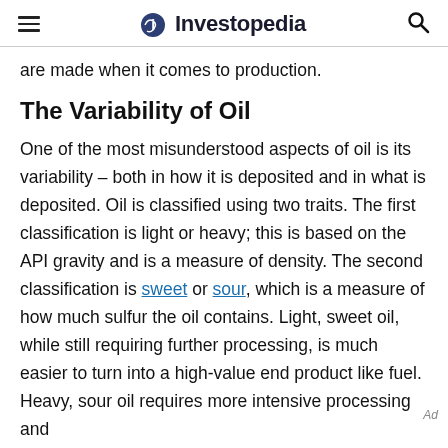Investopedia
are made when it comes to production.
The Variability of Oil
One of the most misunderstood aspects of oil is its variability – both in how it is deposited and in what is deposited. Oil is classified using two traits. The first classification is light or heavy; this is based on the API gravity and is a measure of density. The second classification is sweet or sour, which is a measure of how much sulfur the oil contains. Light, sweet oil, while still requiring further processing, is much easier to turn into a high-value end product like fuel. Heavy, sour oil requires more intensive processing and